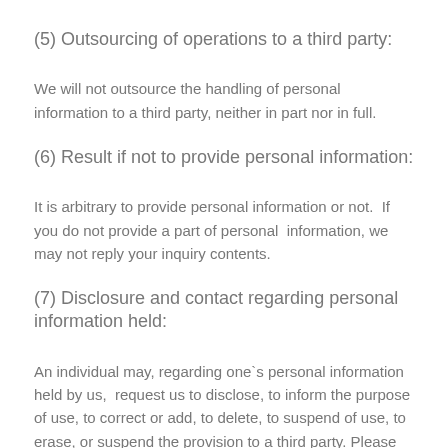(5) Outsourcing of operations to a third party:
We will not outsource the handling of personal information to a third party, neither in part nor in full.
(6) Result if not to provide personal information:
It is arbitrary to provide personal information or not.  If you do not provide a part of personal  information, we may not reply your inquiry contents.
(7) Disclosure and contact regarding personal information held:
An individual may, regarding one`s personal information held by us,  request us to disclose, to inform the purpose of use, to correct or add, to delete, to suspend of use, to erase, or suspend the provision to a third party. Please refer to the